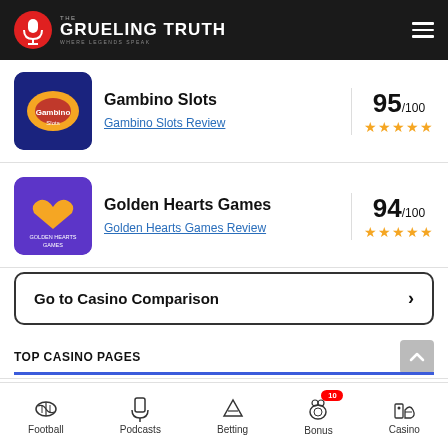THE GRUELING TRUTH - WHERE LEGENDS SPEAK
Gambino Slots - 95/100
Gambino Slots Review
Golden Hearts Games - 94/100
Golden Hearts Games Review
Go to Casino Comparison
TOP CASINO PAGES
Caesars Sports Bonus - 100% up to $1250
Football | Podcasts | Betting | Bonus 10 | Casino